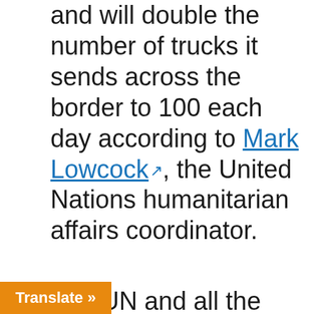and will double the number of trucks it sends across the border to 100 each day according to Mark Lowcock [external link], the United Nations humanitarian affairs coordinator.
The UN and all the other humanitarian aid agencies are enabling [external link] the occupation of Idlib by Al Qaeda to continue. These groups keep the terrorists and their families well cared for, and they never have to face defeat or expulsion. Turkey and the [international] community are
Translate »